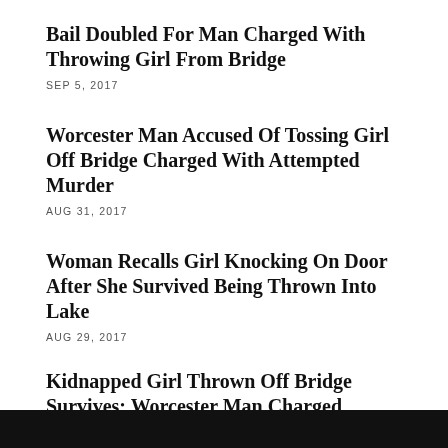Bail Doubled For Man Charged With Throwing Girl From Bridge
SEP 5, 2017
Worcester Man Accused Of Tossing Girl Off Bridge Charged With Attempted Murder
AUG 31, 2017
Woman Recalls Girl Knocking On Door After She Survived Being Thrown Into Lake
AUG 29, 2017
Kidnapped Girl Thrown Off Bridge Survives; Worcester Man Charged
AUG 28, 2017